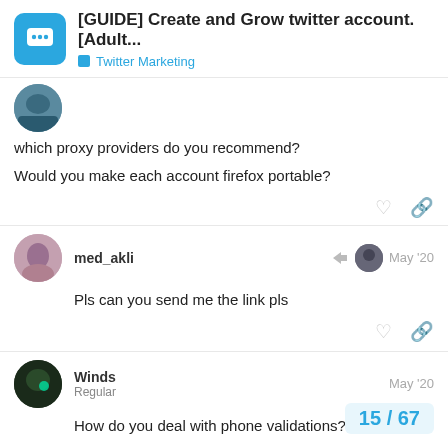[GUIDE] Create and Grow twitter account. [Adult... — Twitter Marketing
which proxy providers do you recommend?

Would you make each account firefox portable?
med_akli — May '20

Pls can you send me the link pls
Winds — Regular — May '20

How do you deal with phone validations?
15 / 67